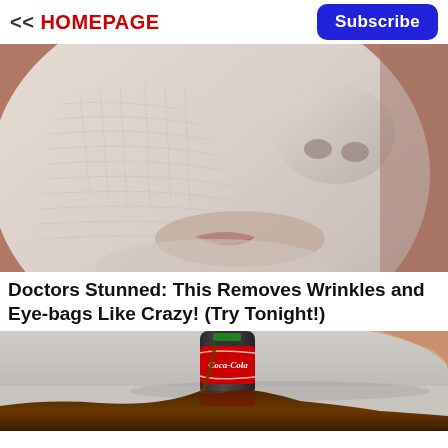<< HOMEPAGE
Subscribe
[Figure (photo): Close-up of a person's face with a white mask or dry skin texture applied, showing the nose and mouth area.]
Doctors Stunned: This Removes Wrinkles and Eye-bags Like Crazy! (Try Tonight!)
[Figure (photo): A Coca-Cola bottle being opened or poured, with the iconic red Coca-Cola label visible.]